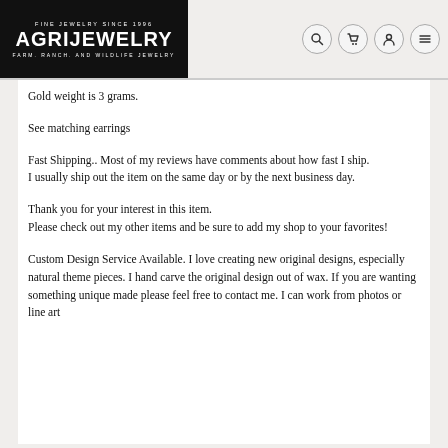AGRIJEWELRY — FINE JEWELRY SINCE 1996 — FARM. RANCH. AND WILDLIFE JEWELRY
Gold weight is 3 grams.
See matching earrings
Fast Shipping.. Most of my reviews have comments about how fast I ship.
I usually ship out the item on the same day or by the next business day.
Thank you for your interest in this item.
Please check out my other items and be sure to add my shop to your favorites!
Custom Design Service Available. I love creating new original designs, especially natural theme pieces. I hand carve the original design out of wax. If you are wanting something unique made please feel free to contact me. I can work from photos or line art